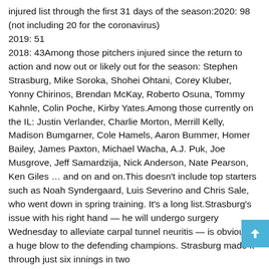injured list through the first 31 days of the season:2020: 98 (not including 20 for the coronavirus)
2019: 51
2018: 43Among those pitchers injured since the return to action and now out or likely out for the season: Stephen Strasburg, Mike Soroka, Shohei Ohtani, Corey Kluber, Yonny Chirinos, Brendan McKay, Roberto Osuna, Tommy Kahnle, Colin Poche, Kirby Yates.Among those currently on the IL: Justin Verlander, Charlie Morton, Merrill Kelly, Madison Bumgarner, Cole Hamels, Aaron Bummer, Homer Bailey, James Paxton, Michael Wacha, A.J. Puk, Joe Musgrove, Jeff Samardzija, Nick Anderson, Nate Pearson, Ken Giles … and on and on.This doesn't include top starters such as Noah Syndergaard, Luis Severino and Chris Sale, who went down in spring training. It's a long list.Strasburg's issue with his right hand — he will undergo surgery Wednesday to alleviate carpal tunnel neuritis — is obviously a huge blow to the defending champions. Strasburg made it through just six innings in two